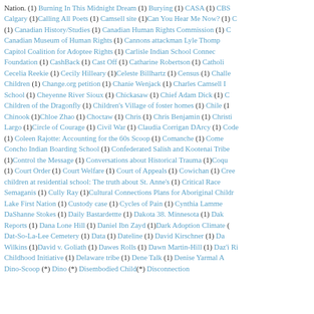Nation. (1) Burning In This Midnight Dream (1) Burying (1) CASA (1) CBS Calgary (1) Calling All Poets (1) Camsell site (1) Can You Hear Me Now? (1) (1) Canadian History/Studies (1) Canadian Human Rights Commission (1) Canadian Museum of Human Rights (1) Cannons attackman Lyle Thomp... Capitol Coalition for Adoptee Rights (1) Carlisle Indian School Conne... Foundation (1) CashBack (1) Cast Off (1) Catharine Robertson (1) Catholi... Cecelia Reekie (1) Cecily Hilleary (1) Celeste Billhartz (1) Census (1) Challe... Children (1) Change.org petition (1) Chanie Wenjack (1) Charles Camsell ... School (1) Cheyenne River Sioux (1) Chickasaw (1) Chief Adam Dick (1) C... Children of the Dragonfly (1) Children's Village of foster homes (1) Chile (1... Chinook (1) Chloe Zhao (1) Choctaw (1) Chris (1) Chris Benjamin (1) Christi... Largo (1) Circle of Courage (1) Civil War (1) Claudia Corrigan DArcy (1) Code ... (1) Coleen Rajotte: Accounting for the 60s Scoop (1) Comanche (1) Come... Concho Indian Boarding School (1) Confederated Salish and Kootenai Tribe... (1) Control the Message (1) Conversations about Historical Trauma (1) Coqu... (1) Court Order (1) Court Welfare (1) Court of Appeals (1) Cowichan (1) Cree... children at residential school: The truth about St. Anne's (1) Critical Race... Semaganis (1) Cully Ray (1) Cultural Connections Plans for Aboriginal Childr... Lake First Nation (1) Custody case (1) Cycles of Pain (1) Cynthia Lamme... DaShanne Stokes (1) Daily Bastardettte (1) Dakota 38. Minnesota (1) Dak... Reports (1) Dana Lone Hill (1) Daniel Ibn Zayd (1) Dark Adoption Climate (... Dat-So-La-Lee Cemetery (1) Data (1) Dateline (1) David Kirschner (1) Da... Wilkins (1) David v. Goliath (1) Dawes Rolls (1) Dawn Martin-Hill (1) Daz'i Ri... Childhood Initiative (1) Delaware tribe (1) Dene Talk (1) Denise Yarmal A...